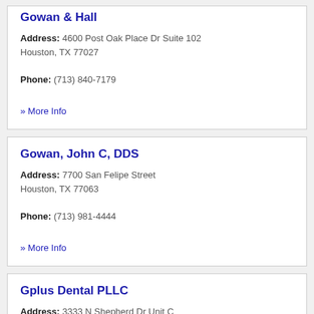Gowan & Hall
Address: 4600 Post Oak Place Dr Suite 102 Houston, TX 77027
Phone: (713) 840-7179
» More Info
Gowan, John C, DDS
Address: 7700 San Felipe Street Houston, TX 77063
Phone: (713) 981-4444
» More Info
Gplus Dental PLLC
Address: 3333 N Shepherd Dr Unit C